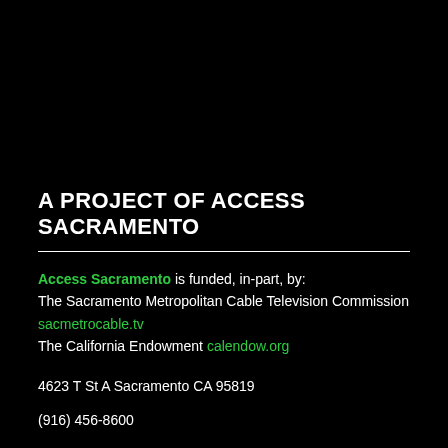A PROJECT OF ACCESS SACRAMENTO
Access Sacramento is funded, in-part, by:
The Sacramento Metropolitan Cable Television Commission
sacmetrocable.tv
The California Endowment calendow.org
4623 T St A Sacramento CA 95819
(916) 456-8600